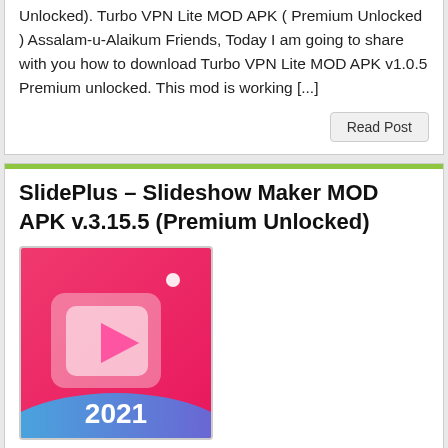Unlocked). Turbo VPN Lite MOD APK ( Premium Unlocked ) Assalam-u-Alaikum Friends, Today I am going to share with you how to download Turbo VPN Lite MOD APK v1.0.5 Premium unlocked. This mod is working [...]
Read Post
SlidePlus – Slideshow Maker MOD APK v.3.15.5 (Premium Unlocked)
[Figure (photo): SlidePlus app icon showing a pink/red background with a play button and the text 2021]
Today in this article, I am going to show you how to Download SlidePlus – Slideshow maker MOD APK v3.15.5 (Premium Unlocked).